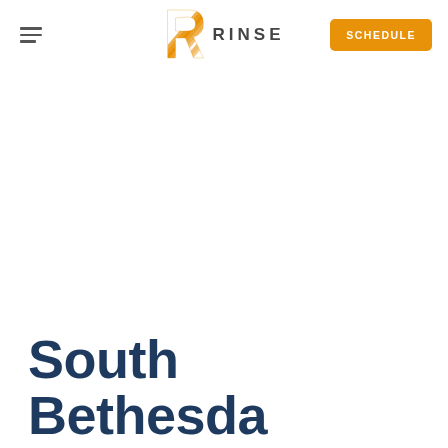RINSE | SCHEDULE
South Bethesda